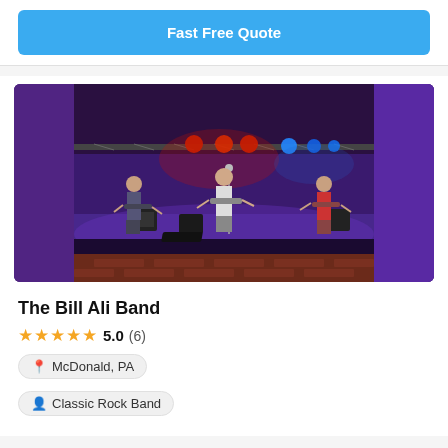Fast Free Quote
[Figure (photo): A rock band performing on a stage with colored stage lighting — red, blue, and purple lights visible overhead on truss rigs. Three musicians visible: one on left with guitar, center guitarist/vocalist, one on right with guitar. Brick wall visible at bottom of stage.]
The Bill Ali Band
★★★★★ 5.0 (6)
McDonald, PA
Classic Rock Band